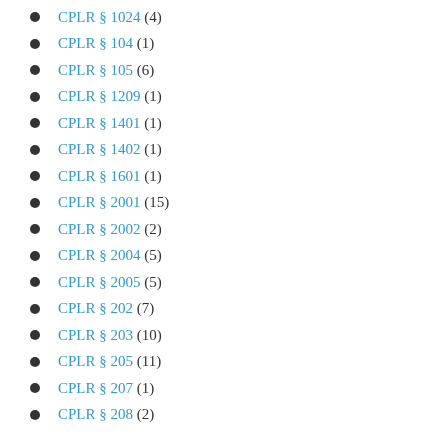CPLR § 1024 (4)
CPLR § 104 (1)
CPLR § 105 (6)
CPLR § 1209 (1)
CPLR § 1401 (1)
CPLR § 1402 (1)
CPLR § 1601 (1)
CPLR § 2001 (15)
CPLR § 2002 (2)
CPLR § 2004 (5)
CPLR § 2005 (5)
CPLR § 202 (7)
CPLR § 203 (10)
CPLR § 205 (11)
CPLR § 207 (1)
CPLR § 208 (2)